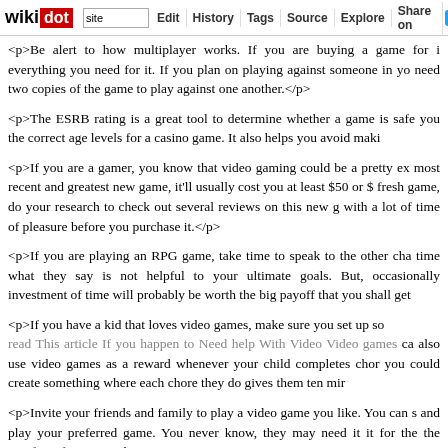wikidot | site | Edit | History | Tags | Source | Explore | Share on
<p>Be alert to how multiplayer works. If you are buying a game for i everything you need for it. If you plan on playing against someone in yo need two copies of the game to play against one another.</p>
<p>The ESRB rating is a great tool to determine whether a game is safe you the correct age levels for a casino game. It also helps you avoid maki
<p>If you are a gamer, you know that video gaming could be a pretty ex most recent and greatest new game, it'll usually cost you at least $50 or $ fresh game, do your research to check out several reviews on this new g with a lot of time of pleasure before you purchase it.</p>
<p>If you are playing an RPG game, take time to speak to the other cha time what they say is not helpful to your ultimate goals. But, occasionally investment of time will probably be worth the big payoff that you shall get
<p>If you have a kid that loves video games, make sure you set up so read This article If you happen to Need help With Video Video games ca also use video games as a reward whenever your child completes chor you could create something where each chore they do gives them ten mir
<p>Invite your friends and family to play a video game you like. You can s and play your preferred game. You never know, they may need it it for the the comfort of your own homes.</p>
<p>Appear for cheat codes by performing a simple search on the Interne find cheats and additional perks for video gaming, without paying for a System At the moment will discover out which codes function and which </p>